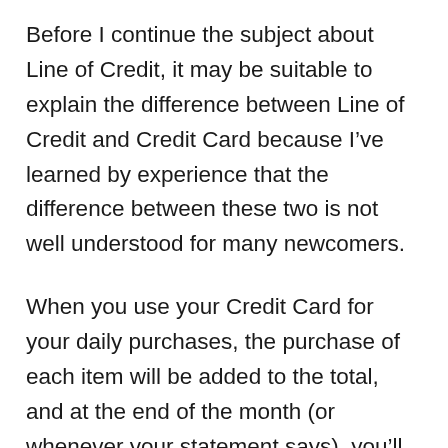Before I continue the subject about Line of Credit, it may be suitable to explain the difference between Line of Credit and Credit Card because I've learned by experience that the difference between these two is not well understood for many newcomers.
When you use your Credit Card for your daily purchases, the purchase of each item will be added to the total, and at the end of the month (or whenever your statement says), you'll receive a bill that is the sum of each cost you've spent during the month. Most of the credit cards specify a particular date (due date) that is